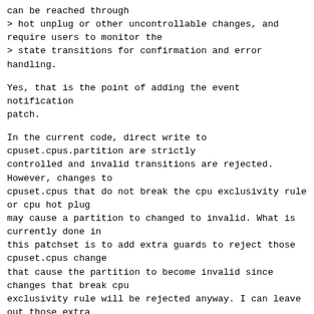can be reached through
> hot unplug or other uncontrollable changes, and require users to monitor the
> state transitions for confirmation and error handling.
Yes, that is the point of adding the event notification patch.
In the current code, direct write to cpuset.cpus.partition are strictly
controlled and invalid transitions are rejected. However, changes to
cpuset.cpus that do not break the cpu exclusivity rule or cpu hot plug
may cause a partition to changed to invalid. What is currently done in
this patchset is to add extra guards to reject those cpuset.cpus change
that cause the partition to become invalid since changes that break cpu
exclusivity rule will be rejected anyway. I can leave out those extra
guards and allow those invalid cpuset.cpus change to go forward and
change the partition to invalid instead if this is what you want.
However, if we have a complicated partition setup with multiple child
partitions. Invalid cpuset.cpus change in a parent